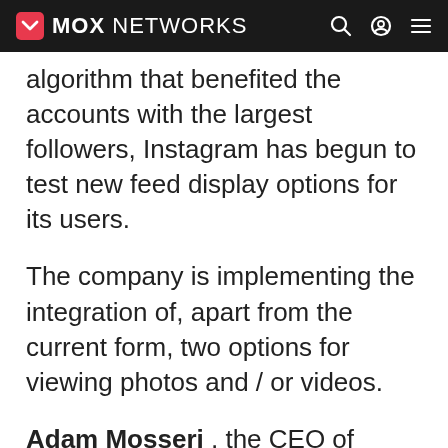MOX NETWORKS
algorithm that benefited the accounts with the largest followers, Instagram has begun to test new feed display options for its users.
The company is implementing the integration of, apart from the current form, two options for viewing photos and / or videos.
Adam Mosseri , the CEO of Instagram, before closing the year 2021, told us